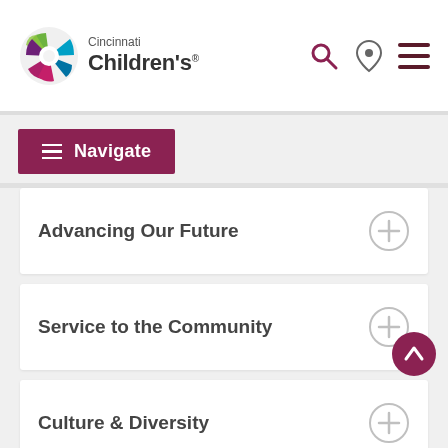[Figure (logo): Cincinnati Children's Hospital logo with colorful circular icon and text]
[Figure (screenshot): Navigation bar with hamburger menu icon and Navigate label, plus search, location, and menu icons]
Advancing Our Future
Service to the Community
Culture & Diversity